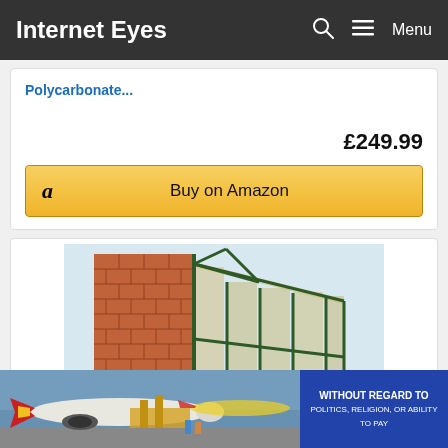Internet Eyes
Polycarbonate...
£249.99
Buy on Amazon
[Figure (photo): Lean-to polycarbonate greenhouse with green metal frame attached to a brick wall]
[Figure (photo): Advertisement banner showing airplanes being loaded with cargo, and a text overlay reading WITHOUT REGARD TO POLITICS, RELIGION, OR ABILITY TO PAY]